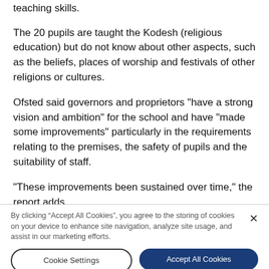teaching skills.
The 20 pupils are taught the Kodesh (religious education) but do not know about other aspects, such as the beliefs, places of worship and festivals of other religions or cultures.
Ofsted said governors and proprietors "have a strong vision and ambition" for the school and have "made some improvements" particularly in the requirements relating to the premises, the safety of pupils and the suitability of staff.
"These improvements been sustained over time," the report adds.
By clicking “Accept All Cookies”, you agree to the storing of cookies on your device to enhance site navigation, analyze site usage, and assist in our marketing efforts.